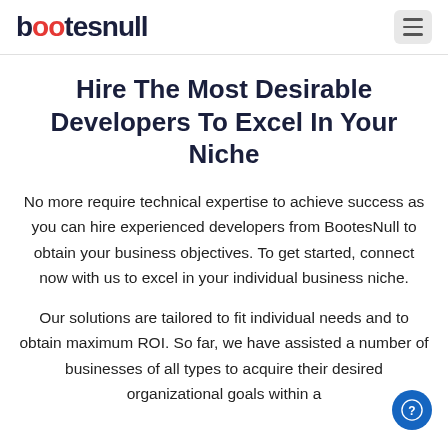bootesnull
Hire The Most Desirable Developers To Excel In Your Niche
No more require technical expertise to achieve success as you can hire experienced developers from BootesNull to obtain your business objectives. To get started, connect now with us to excel in your individual business niche.
Our solutions are tailored to fit individual needs and to obtain maximum ROI. So far, we have assisted a number of businesses of all types to acquire their desired organizational goals within a